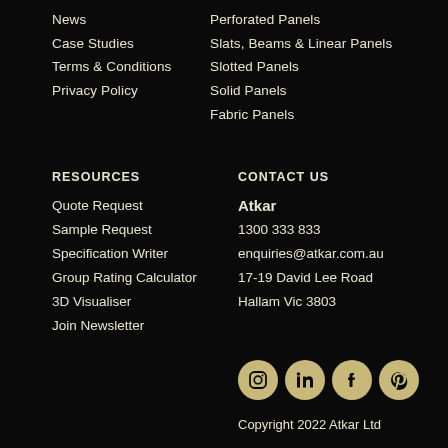News
Case Studies
Terms & Conditions
Privacy Policy
Perforated Panels
Slats, Beams & Linear Panels
Slotted Panels
Solid Panels
Fabric Panels
RESOURCES
Quote Request
Sample Request
Specification Writer
Group Rating Calculator
3D Visualiser
Join Newsletter
CONTACT US
Atkar
1300 333 833
enquiries@atkar.com.au
17-19 David Lee Road
Hallam Vic 3803
[Figure (infographic): Four social media icons (Instagram, LinkedIn, Facebook, Pinterest) as gold/tan circles on black background]
Copyright 2022 Atkar Ltd